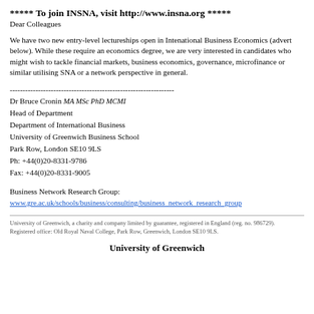***** To join INSNA, visit http://www.insna.org *****
Dear Colleagues
We have two new entry-level lectureships open in Intenational Business Economics (advert below). While these require an economics degree, we are very interested in candidates who might wish to tackle financial markets, business economics, governance, microfinance or similar utilising SNA or a network perspective in general.
----------------------------------------------------------------
Dr Bruce Cronin MA MSc PhD MCMI
Head of Department
Department of International Business
University of Greenwich Business School
Park Row, London SE10 9LS
Ph: +44(0)20-8331-9786
Fax: +44(0)20-8331-9005
Business Network Research Group:
www.gre.ac.uk/schools/business/consulting/business_network_research_group
University of Greenwich, a charity and company limited by guarantee, registered in England (reg. no. 986729).
Registered office: Old Royal Naval College, Park Row, Greenwich, London SE10 9LS.
University of Greenwich